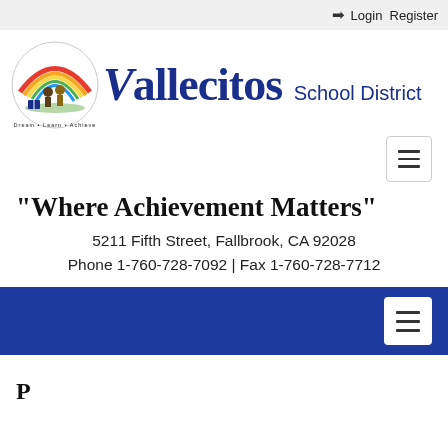Login  Register
[Figure (logo): Vallecitos School District logo with rainbow arc and students, tagline Dream Learn Achieve]
Vallecitos School District
"Where Achievement Matters"
5211 Fifth Street, Fallbrook, CA 92028
Phone 1-760-728-7092 | Fax 1-760-728-7712